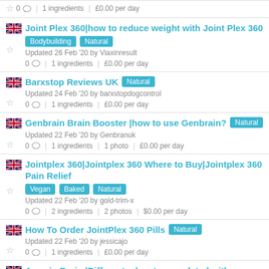0 | 1 ingredients | £0.00 per day
Joint Plex 360|how to reduce weight with Joint Plex 360 — Bodybuilding, Natural — Updated 26 Feb '20 by Viaxinresult — 0 | 1 ingredients | £0.00 per day
Barxstop Reviews UK — Natural — Updated 24 Feb '20 by barxstopdogcontrol — 0 | 1 ingredients | £0.00 per day
Genbrain Brain Booster | how to use Genbrain? — Natural — Updated 22 Feb '20 by Genbranuk — 0 | 1 ingredients | 1 photo | £0.00 per day
Jointplex 360|Jointplex 360 Where to Buy|Jointplex 360 Pain Relief — Vegan, Baked, Natural — Updated 22 Feb '20 by gold-trim-x — 0 | 2 ingredients | 2 photos | $0.00 per day
How To Order JointPlex 360 Pills — Natural — Updated 22 Feb '20 by jessicajo — 0 | 1 ingredients | £0.00 per day
Amazin Brain | Different advantages related with Amazin Brain — Natural